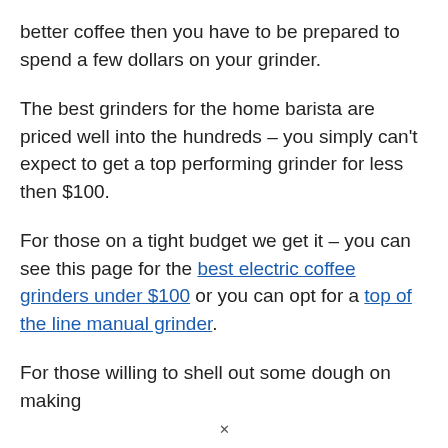better coffee then you have to be prepared to spend a few dollars on your grinder.
The best grinders for the home barista are priced well into the hundreds – you simply can't expect to get a top performing grinder for less then $100.
For those on a tight budget we get it – you can see this page for the best electric coffee grinders under $100 or you can opt for a top of the line manual grinder.
For those willing to shell out some dough on making